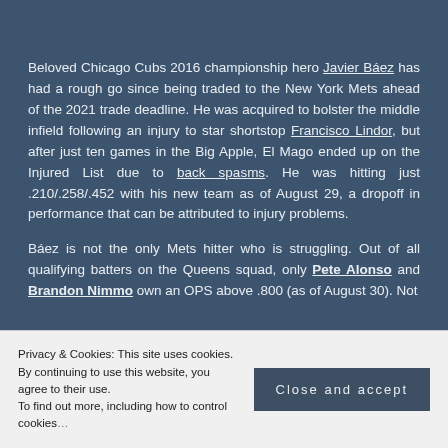Beloved Chicago Cubs 2016 championship hero Javier Báez has had a rough go since being traded to the New York Mets ahead of the 2021 trade deadline. He was acquired to bolster the middle infield following an injury to star shortstop Francisco Lindor, but after just ten games in the Big Apple, El Mago ended up on the Injured List due to back spasms. He was hitting just .210/.258/.452 with his new team as of August 29, a dropoff in performance that can be attributed to injury problems.
Báez is not the only Mets hitter who is struggling. Out of all qualifying batters on the Queens squad, only Pete Alonso and Brandon Nimmo own an OPS above .800 (as of August 30). Not expectations coming into the season in the National League East Division with a record of 63-67,
Privacy & Cookies: This site uses cookies. By continuing to use this website, you agree to their use. To find out more, including how to control cookies Close and accept